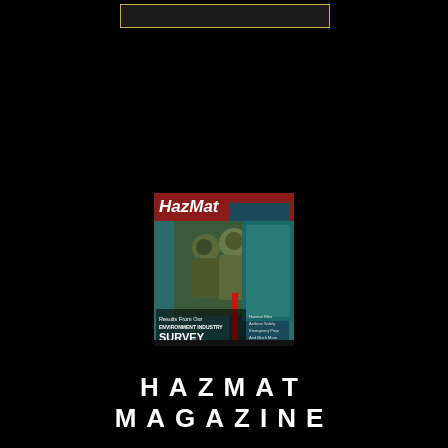[Figure (other): Gold/amber bordered rectangle box at top center on black background]
[Figure (photo): Cover of HazMat magazine showing firefighters in hazmat gear with text 'Results From Our ENVIRONMENT INDUSTRY SURVEY' on the cover]
HAZMAT MAGAZINE